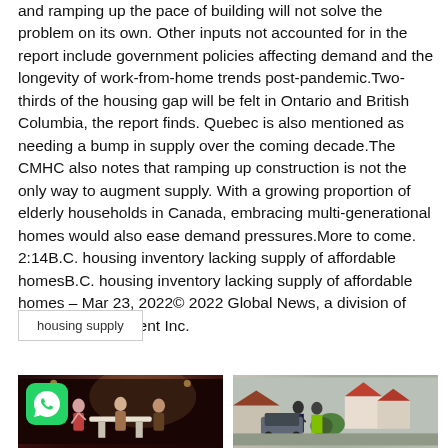and ramping up the pace of building will not solve the problem on its own. Other inputs not accounted for in the report include government policies affecting demand and the longevity of work-from-home trends post-pandemic.Two-thirds of the housing gap will be felt in Ontario and British Columbia, the report finds. Quebec is also mentioned as needing a bump in supply over the coming decade.The CMHC also notes that ramping up construction is not the only way to augment supply. With a growing proportion of elderly households in Canada, embracing multi-generational homes would also ease demand pressures.More to come. 2:14B.C. housing inventory lacking supply of affordable homesB.C. housing inventory lacking supply of affordable homes – Mar 23, 2022© 2022 Global News, a division of Corus Entertainment Inc.
housing supply
[Figure (photo): Concert stage scene with performers, WhatsApp icon overlay in bottom-left corner]
[Figure (photo): Outdoor street scene with police/emergency responders and residential houses]